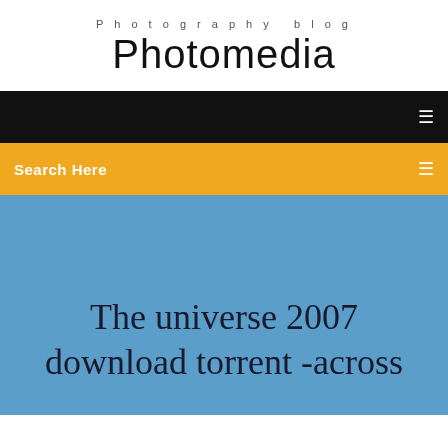Photography blog
Photomedia
[Figure (screenshot): Black navigation bar with white menu icon on the right]
[Figure (screenshot): Yellow/orange search bar with 'Search Here' text on left and search icon on right]
The universe 2007 download torrent -across